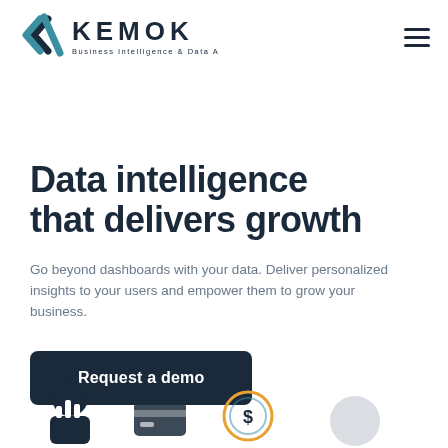[Figure (logo): KEMOK logo with two overlapping chevron/arrow shapes in teal and dark navy, text KEMOK in dark navy uppercase bold, subtitle Business Intelligence & Data Analytics in smaller dark text]
Data intelligence that delivers growth
Go beyond dashboards with your data. Deliver personalized insights to your users and empower them to grow your business.
Request a demo
[Figure (illustration): Partial row of business/analytics icons along the bottom edge of the page, including dark navy chart/person icon, credit card icon, circular dollar sign icon in orange/teal outline, and partial additional icon]